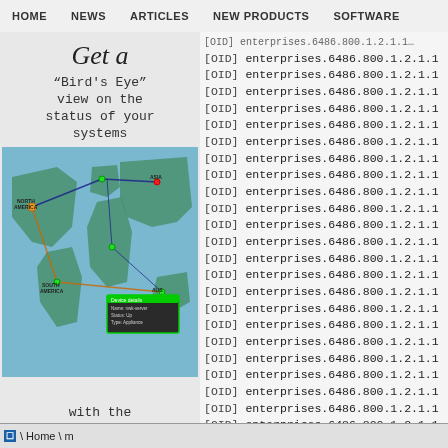HOME   NEWS   ARTICLES   NEW PRODUCTS   SOFTWARE
[Figure (screenshot): Advertisement with decorative text 'Get a Bird's Eye view on the status of your systems with the' overlaid on a world map graphic showing network nodes connected by lines across continents, with a status detail popup showing a device status.]
[OID] enterprises.6486.800.1.2.1.1
[OID] enterprises.6486.800.1.2.1.1
[OID] enterprises.6486.800.1.2.1.1
[OID] enterprises.6486.800.1.2.1.1
[OID] enterprises.6486.800.1.2.1.1
[OID] enterprises.6486.800.1.2.1.1
[OID] enterprises.6486.800.1.2.1.1
[OID] enterprises.6486.800.1.2.1.1
[OID] enterprises.6486.800.1.2.1.1
[OID] enterprises.6486.800.1.2.1.1
[OID] enterprises.6486.800.1.2.1.1
[OID] enterprises.6486.800.1.2.1.1
[OID] enterprises.6486.800.1.2.1.1
[OID] enterprises.6486.800.1.2.1.1
[OID] enterprises.6486.800.1.2.1.1
[OID] enterprises.6486.800.1.2.1.1
[OID] enterprises.6486.800.1.2.1.1
[OID] enterprises.6486.800.1.2.1.1
[OID] enterprises.6486.800.1.2.1.1
[OID] enterprises.6486.800.1.2.1.1
[OID] enterprises.6486.800.1.2.1.1
[OID] enterprises.6486.800.1.2.1.1
[OID] enterprises.6486.800.1.2.1.1
[OID] enterprises.6486.800.1.2.1.1
[OID] enterprises.6486.800.1.2.1.1
Home \ m